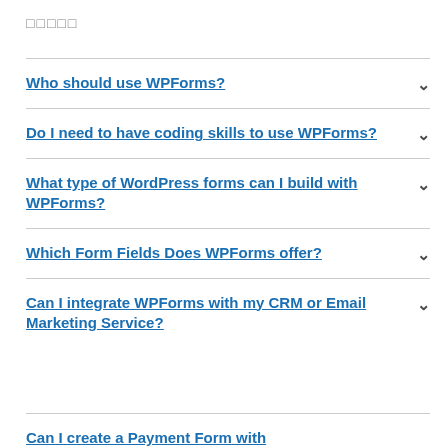□□□□□
Who should use WPForms?
Do I need to have coding skills to use WPForms?
What type of WordPress forms can I build with WPForms?
Which Form Fields Does WPForms offer?
Can I integrate WPForms with my CRM or Email Marketing Service?
Can I create a Payment Form with...